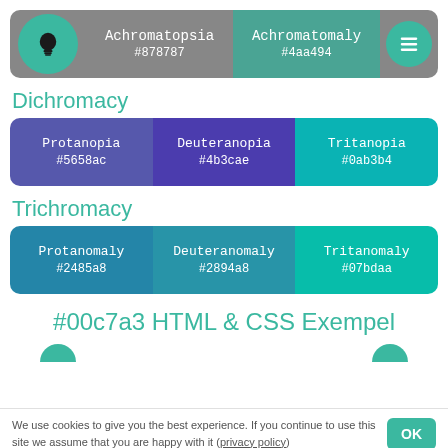[Figure (infographic): Header bar with two color swatches: Achromatopsia #878787 (gray) and Achromatomaly #4aa494 (teal), with a lightbulb icon and menu icon]
Dichromacy
[Figure (infographic): Three color swatches: Protanopia #5658ac, Deuteranopia #4b3cae, Tritanopia #0ab3b4]
Trichromacy
[Figure (infographic): Three color swatches: Protanomaly #2485a8, Deuteranomaly #2894a8, Tritanomaly #07bdaa]
#00c7a3 HTML & CSS Exempel
We use cookies to give you the best experience. If you continue to use this site we assume that you are happy with it (privacy policy)